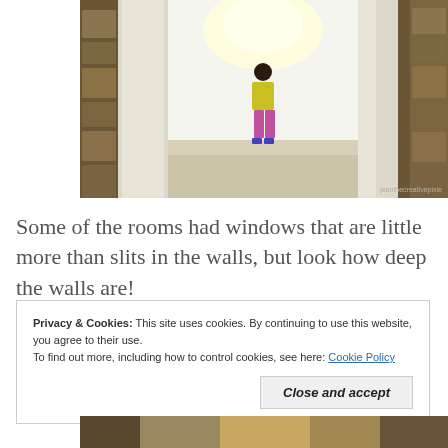[Figure (photo): A narrow stone corridor or passage with whitewashed walls and large stone blocks. A girl wearing a yellow top and pink pants is seen walking through the corridor toward a bright light at the far end. Watermark reads 'jeanthecreativepixie' in the bottom right corner.]
Some of the rooms had windows that are little more than slits in the walls, but look how deep the walls are!
Privacy & Cookies: This site uses cookies. By continuing to use this website, you agree to their use.
To find out more, including how to control cookies, see here: Cookie Policy
[Close and accept]
[Figure (photo): Partial view of another photo, showing what appears to be a stone structure or ruins, cropped at the bottom of the page.]